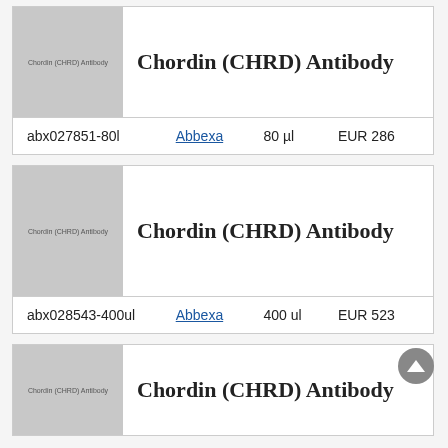| SKU | Vendor | Qty | Price |
| --- | --- | --- | --- |
| abx027851-80l | Abbexa | 80 µl | EUR 286 |
| SKU | Vendor | Qty | Price |
| --- | --- | --- | --- |
| abx028543-400ul | Abbexa | 400 ul | EUR 523 |
Chordin (CHRD) Antibody